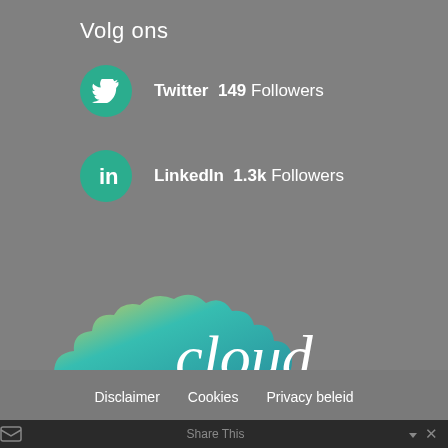Volg ons
Twitter  149 Followers
LinkedIn  1.3k Followers
[Figure (logo): Cloud Makelaar logo with stylized cloud shape in blue/teal/yellow gradient and italic 'cloud' text above 'MAKELAAR' in spaced letters with registered trademark symbol]
Disclaimer   Cookies   Privacy beleid
© Copyright: 2011-2022 Witsenburg Consultancy BV
Web development: · Concept: